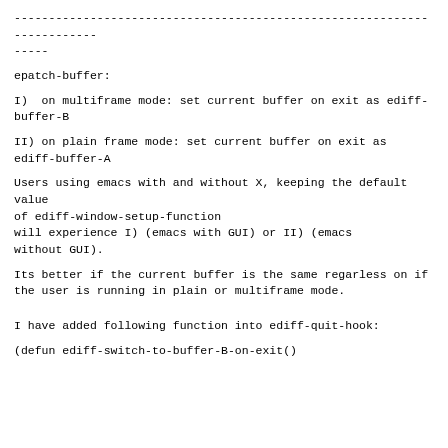------------------------------------------------------------------------
-----
epatch-buffer:
I)  on multiframe mode: set current buffer on exit as ediff-buffer-B
II) on plain frame mode: set current buffer on exit as ediff-buffer-A
Users using emacs with and without X, keeping the default value
of ediff-window-setup-function
will experience I) (emacs with GUI) or II) (emacs without GUI).
Its better if the current buffer is the same regarless on if
the user is running in plain or multiframe mode.
I have added following function into ediff-quit-hook:
(defun ediff-switch-to-buffer-B-on-exit()